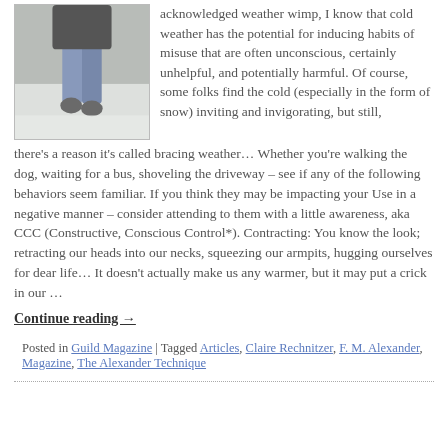[Figure (photo): A person walking in snowy conditions, wearing jeans and boots, photographed from the waist down]
acknowledged weather wimp, I know that cold weather has the potential for inducing habits of misuse that are often unconscious, certainly unhelpful, and potentially harmful.  Of course, some folks find the cold (especially in the form of snow) inviting and invigorating, but still, there's a reason it's called bracing weather…  Whether you're walking the dog, waiting for a bus, shoveling the driveway – see if any of the following behaviors seem familiar. If you think they may be impacting your Use in a negative manner – consider attending to them with a little awareness, aka CCC (Constructive, Conscious Control*). Contracting: You know the look; retracting our heads into our necks, squeezing our armpits, hugging ourselves for dear life… It doesn't actually make us any warmer, but it may put a crick in our …
Continue reading →
Posted in Guild Magazine | Tagged Articles, Claire Rechnitzer, F. M. Alexander, Magazine, The Alexander Technique